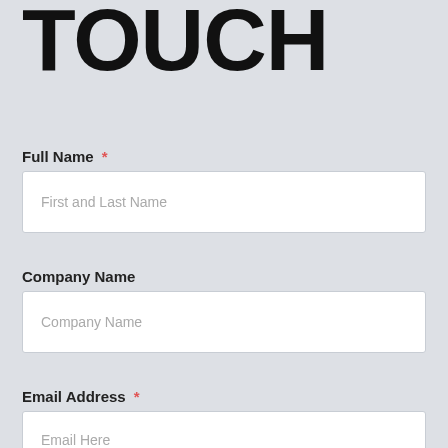GET IN TOUCH
Full Name *
First and Last Name
Company Name
Company Name
Email Address *
Email Here